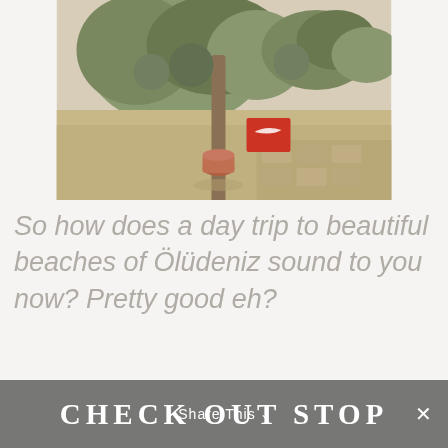[Figure (photo): Outdoor sandy area with palm trees and tropical plants. A red Nike shoebox is visible near a tree trunk. A terracotta pot sits at the base of the tree. Mosaic/brick pathway visible in the lower right.]
So how does a day trip to beautiful beaches of Ölüdeniz sound to you now? Pretty good eh?
CHECK OUT STOP
Share This